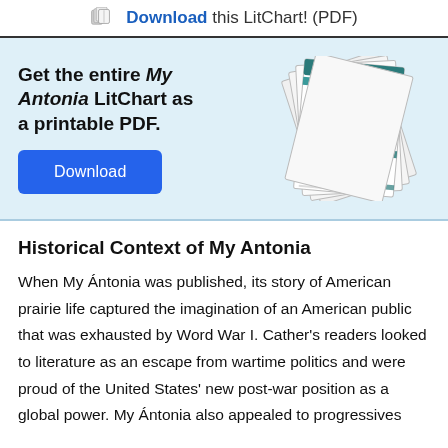Download this LitChart! (PDF)
[Figure (infographic): Promotional banner with text 'Get the entire My Antonia LitChart as a printable PDF.' and a Download button, alongside a fan of printed LitChart PDF pages.]
Historical Context of My Antonia
When My Ántonia was published, its story of American prairie life captured the imagination of an American public that was exhausted by Word War I. Cather's readers looked to literature as an escape from wartime politics and were proud of the United States' new post-war position as a global power. My Ántonia also appealed to progressives